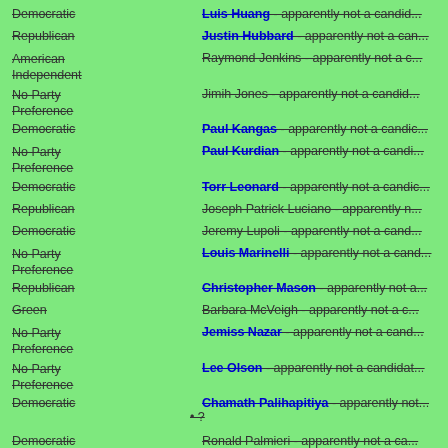Democratic | Luis Huang - apparently not a candidate
Republican | Justin Hubbard - apparently not a candidate
American Independent | Raymond Jenkins - apparently not a candidate
No Party Preference | Jimih Jones - apparently not a candidate
Democratic | Paul Kangas - apparently not a candidate
No Party Preference | Paul Kurdian - apparently not a candidate
Democratic | Torr Leonard - apparently not a candidate
Republican | Joseph Patrick Luciano - apparently not a candidate
Democratic | Jeremy Lupoli - apparently not a candidate
No Party Preference | Louis Marinelli - apparently not a candidate
Republican | Christopher Mason - apparently not a candidate
Green | Barbara McVeigh - apparently not a candidate
No Party Preference | Jemiss Nazar - apparently not a candidate
No Party Preference | Lee Olson - apparently not a candidate
Democratic | Chamath Palihapitiya - apparently not a candidate • ?
Democratic | Ronald Palmieri - apparently not a candidate
Republican | John Pierce - apparently not a candidate
Republican | Patrick Rakus, Jr. - apparently not a candidate
No Party Preference | Charles Reyburn - apparently not a candidate